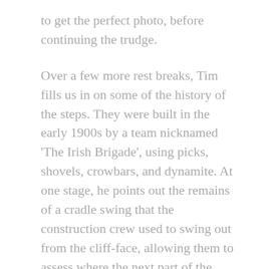to get the perfect photo, before continuing the trudge.
Over a few more rest breaks, Tim fills us in on some of the history of the steps. They were built in the early 1900s by a team nicknamed 'The Irish Brigade', using picks, shovels, crowbars, and dynamite. At one stage, he points out the remains of a cradle swing that the construction crew used to swing out from the cliff-face, allowing them to assess where the next part of the track should be built. Looking down over the edge of the steps, I don't envy them one bit.
The Stairway brings us to the top of Wentworth Falls, and we couldn't be more